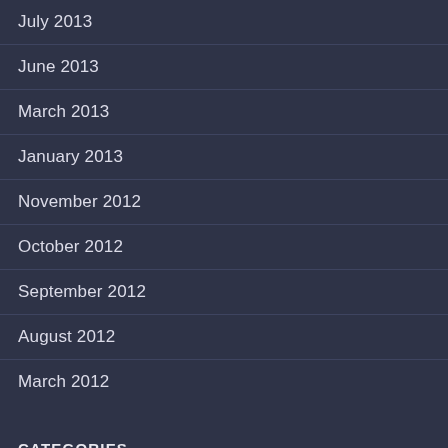July 2013
June 2013
March 2013
January 2013
November 2012
October 2012
September 2012
August 2012
March 2012
CATEGORIES
More Design